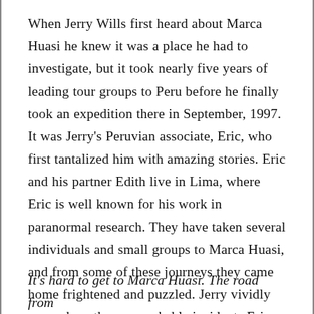When Jerry Wills first heard about Marca Huasi he knew it was a place he had to investigate, but it took nearly five years of leading tour groups to Peru before he finally took an expedition there in September, 1997. It was Jerry's Peruvian associate, Eric, who first tantalized him with amazing stories. Eric and his partner Edith live in Lima, where Eric is well known for his work in paranormal research. They have taken several individuals and small groups to Marca Huasi, and from some of these journeys they came home frightened and puzzled. Jerry vividly remembers three remarkable incidents Eric and Edith described to him.
It's hard to get to Marca Huasi. The road from